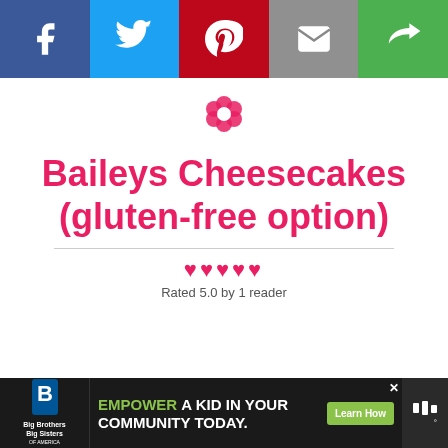[Figure (infographic): Social sharing bar with icons: Facebook (blue), Twitter (light blue), Pinterest (red), Email (gray), Share (green)]
[Figure (logo): Pink flower/rosette icon (site logo)]
Baileys Cheesecakes (gluten-free option)
Rated 5.0 by 1 reader
[Figure (photo): Mini cheesecakes with chocolate base, yellow filling, and toppings on a white surface]
Scroll to top
[Figure (infographic): Advertisement banner: Big Brothers Big Sisters logo on left, 'EMPOWER A KID IN YOUR COMMUNITY TODAY.' text with Learn How button, close X, and weather icon on right]